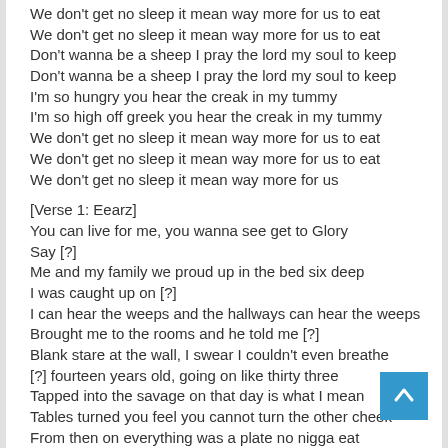We don't get no sleep it mean way more for us to eat
We don't get no sleep it mean way more for us to eat
Don't wanna be a sheep I pray the lord my soul to keep
Don't wanna be a sheep I pray the lord my soul to keep
I'm so hungry you hear the creak in my tummy
I'm so high off greek you hear the creak in my tummy
We don't get no sleep it mean way more for us to eat
We don't get no sleep it mean way more for us to eat
We don't get no sleep it mean way more for us
[Verse 1: Eearz]
You can live for me, you wanna see get to Glory
Say [?]
Me and my family we proud up in the bed six deep
I was caught up on [?]
I can hear the weeps and the hallways can hear the weeps
Brought me to the rooms and he told me [?]
Blank stare at the wall, I swear I couldn't even breathe
[?] fourteen years old, going on like thirty three
Tapped into the savage on that day is what I mean
Tables turned you feel you cannot turn the other cheek
From then on everything was a plate no nigga eat
[Hook: Eearz]